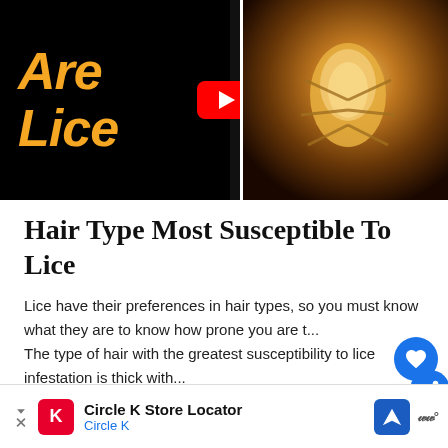[Figure (screenshot): YouTube video thumbnail showing 'Are Lice' text in orange italic on black background left side, YouTube play button icon in center, and close-up microscope image of a louse on the right side]
Hair Type Most Susceptible To Lice
Lice have their preferences in hair types, so you must know what they are to know how prone you are t... The type of hair with the greatest susceptibility to lice infestation is thick with...